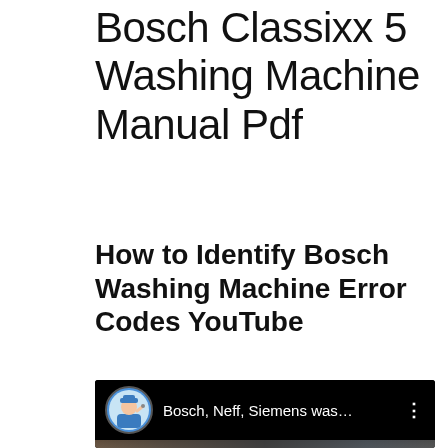Bosch Classixx 5 Washing Machine Manual Pdf
How to Identify Bosch Washing Machine Error Codes YouTube
[Figure (screenshot): YouTube video thumbnail showing a channel named 'Bosch, Neff, Siemens was...' with a circular avatar icon of a repair technician character, three-dot menu icon, and a video still of an older man leaning over a washing machine.]